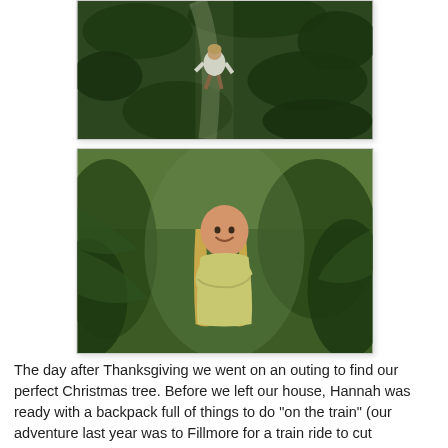[Figure (photo): Child running through rows of Christmas trees at a tree farm, aerial/overhead perspective, green pine trees surrounding the path.]
[Figure (photo): Young girl with long blonde hair smiling and standing among dense Christmas pine trees at a tree farm, wearing a light yellow/green shirt.]
The day after Thanksgiving we went on an outing to find our perfect Christmas tree. Before we left our house, Hannah was ready with a backpack full of things to do "on the train" (our adventure last year was to Fillmore for a train ride to cut